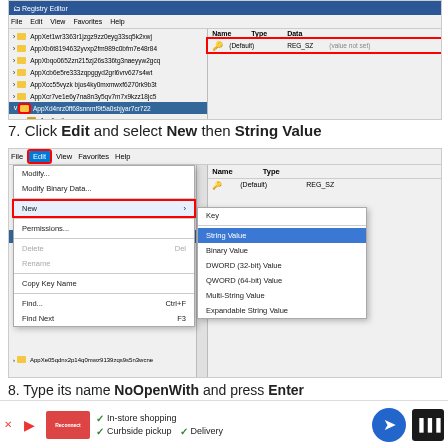[Figure (screenshot): Registry Editor window showing list of AppX registry keys with one selected (AppXd4nrz0ff68snnmf9t5a0sbjyar7cr722), and right panel showing (Default) REG_SZ (value not set)]
7. Click Edit and select New then String Value
[Figure (screenshot): Registry Editor with Edit menu open, New submenu expanded showing String Value highlighted in blue]
8. Type its name NoOpenWith and press Enter
[Figure (screenshot): Advertisement banner with In-store shopping, Curbside pickup, Delivery options]